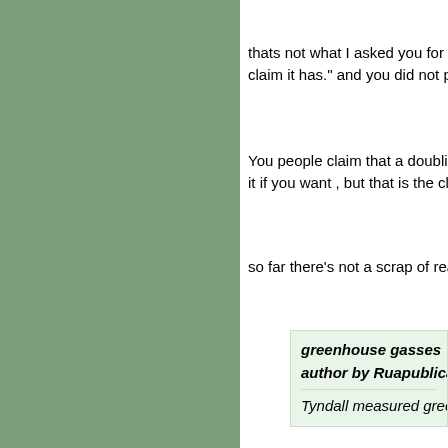thats not what I asked you for - I asked you for "evidence claim it has." and you did not provide it.
You people claim that a doubling of CO2 in the atmosphere it if you want , but that is the claim of the Climate Scientist
so far there's not a scrap of real empirical evidence that a
greenhouse gasses
author by Ruapublication date Wed Feb 19, 20

Tyndall measured greenhouse effect in 1861. A
No neither Tyndall nor Arenhuis provided empirical proof f
Glacial retreat.
author by Rational Ecologist.publication date W

Glacial retreat is a fact in North America and el
The facts say otherwise - again I repeat - and note that Th